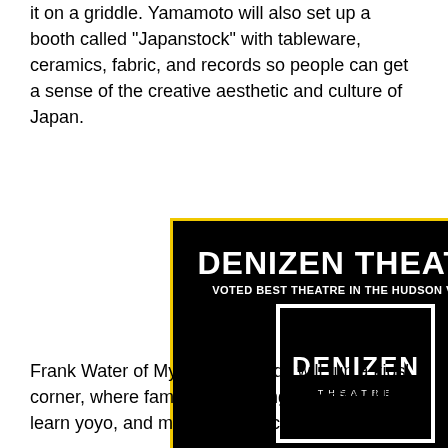it on a griddle. Yamamoto will also set up a booth called "Japanstock" with tableware, ceramics, fabric, and records so people can get a sense of the creative aesthetic and culture of Japan.
[Figure (other): Advertisement for Denizen Theatre. Black background with yellow border. Text reads: DENIZEN THEATRE, VOTED BEST THEATRE IN THE HUDSON VALLEY!, logo box with DENIZEN THEATRE inside, WATER STREET MARKET, 10 MAIN STREET, NEW PALTZ, CLICK HERE TO SEE OUR CURRENT PRODUCTION!]
Frank Water of My Kingston Kids will run a kids' corner, where families can lounge comfortably, learn yoyo, and make origami cranes.